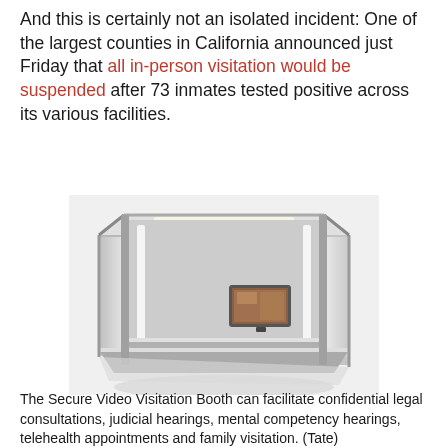And this is certainly not an isolated incident: One of the largest counties in California announced just Friday that all in-person visitation would be suspended after 73 inmates tested positive across its various facilities.
[Figure (photo): 3D rendering of a Secure Video Visitation Booth — a metal-framed, gray-paneled room with bright overhead lighting strips, a monitor on the back wall, and a desk/bench surface in the foreground.]
The Secure Video Visitation Booth can facilitate confidential legal consultations, judicial hearings, mental competency hearings, telehealth appointments and family visitation. (Tate)